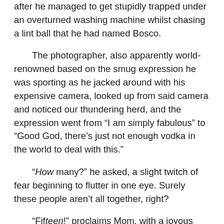after he managed to get stupidly trapped under an overturned washing machine whilst chasing a lint ball that he had named Bosco.
The photographer, also apparently world-renowned based on the smug expression he was sporting as he jacked around with his expensive camera, looked up from said camera and noticed our thundering herd, and the expression went from “I am simply fabulous” to “Good God, there’s just not enough vodka in the world to deal with this.”
“How many?” he asked, a slight twitch of fear beginning to flutter in one eye. Surely these people aren’t all together, right?
“Fifteen!” proclaims Mom, with a joyous inflection that one normally only hears when people have just won presidential elections, unaware that such a large number probably just gave the man a small stroke. Getting two people to smile at roughly the same time is difficult enough, especially with alcohol flowing freely on the ship like it does. Convincing fifteen people to adequately perform synchronized swimming